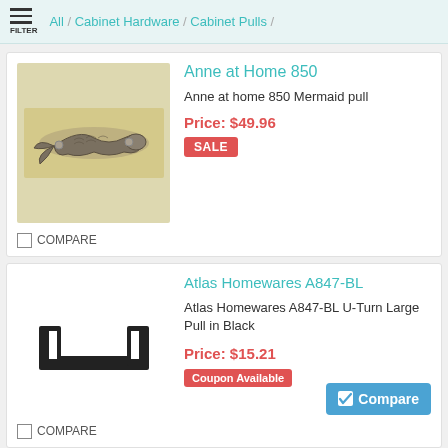All / Cabinet Hardware / Cabinet Pulls /
[Figure (photo): Anne at Home 850 Mermaid pull cabinet hardware, ornate silver mermaid-shaped pull on beige background]
Anne at Home 850
Anne at home 850 Mermaid pull
Price: $49.96
SALE
COMPARE
[Figure (photo): Atlas Homewares A847-BL U-Turn Large Pull in Black, modern black U-shaped cabinet pull on white background]
Atlas Homewares A847-BL
Atlas Homewares A847-BL U-Turn Large Pull in Black
Price: $15.21
Coupon Available
Compare
COMPARE